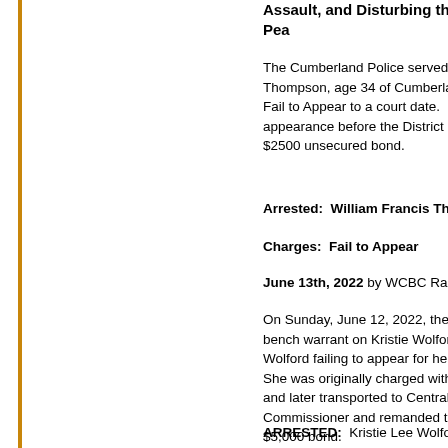Assault, and Disturbing the Pea[ce]
The Cumberland Police served an [arrest warrant on William Francis] Thompson, age 34 of Cumberland [for] Fail to Appear to a court date. He [made an] appearance before the District Co[mmissioner on a] $2500 unsecured bond.
Arrested:  William Francis Thor[npson]
Charges:  Fail to Appear
June 13th, 2022 by WCBC Radic[o]
On Sunday, June 12, 2022, the C[umberland Police served a] bench warrant on Kristie Wolford. [The warrant stemmed from] Wolford failing to appear for her c[ourt date.] She was originally charged with m[ultiple offenses] and later transported to Central B[ook-In.] Commissioner and remanded to t[he county jail on a] $5,000 bond.
ARRESTED:  Kristie Lee Wolford